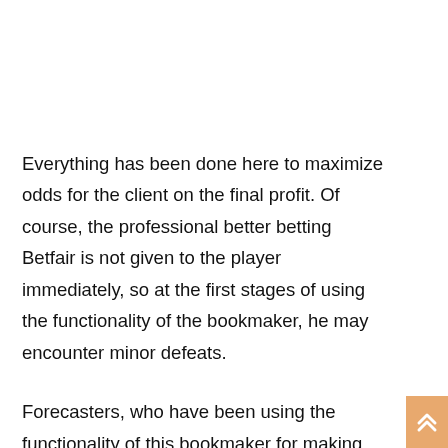Everything has been done here to maximize odds for the client on the final profit. Of course, the professional better betting Betfair is not given to the player immediately, so at the first stages of using the functionality of the bookmaker, he may encounter minor defeats.
Forecasters, who have been using the functionality of this bookmaker for making bets for several years, highlight the following advantages:
1. Betfair sports betting on this site is the most